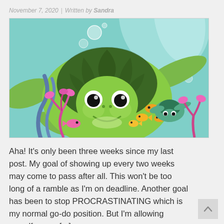November 7, 2020 | Written by Sandra
[Figure (illustration): Colorful children's book illustration of two sea turtles swimming underwater with small fish, coral, and bubbles on a teal/aqua background.]
Aha! It's only been three weeks since my last post. My goal of showing up every two weeks may come to pass after all. This won't be too long of a ramble as I'm on deadline. Another goal has been to stop PROCRASTINATING which is my normal go-do position. But I'm allowing myself a wee [...]